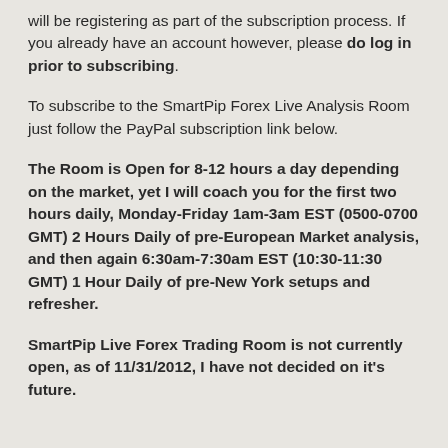will be registering as part of the subscription process. If you already have an account however, please do log in prior to subscribing.
To subscribe to the SmartPip Forex Live Analysis Room just follow the PayPal subscription link below.
The Room is Open for 8-12 hours a day depending on the market, yet I will coach you for the first two hours daily, Monday-Friday 1am-3am EST (0500-0700 GMT) 2 Hours Daily of pre-European Market analysis, and then again 6:30am-7:30am EST (10:30-11:30 GMT) 1 Hour Daily of pre-New York setups and refresher.
SmartPip Live Forex Trading Room is not currently open, as of 11/31/2012, I have not decided on it's future.